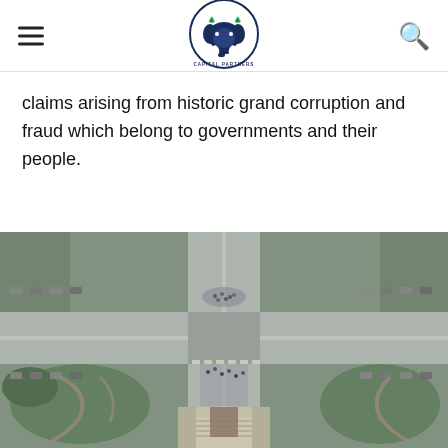Impact Capital Partners logo with hamburger menu and search icon
claims arising from historic grand corruption and fraud which belong to governments and their people.
[Figure (photo): Aerial view looking down from the top of the Eiffel Tower showing the Champ de Mars, surrounding streets, intersections, parked cars, and green park areas in Paris, France.]